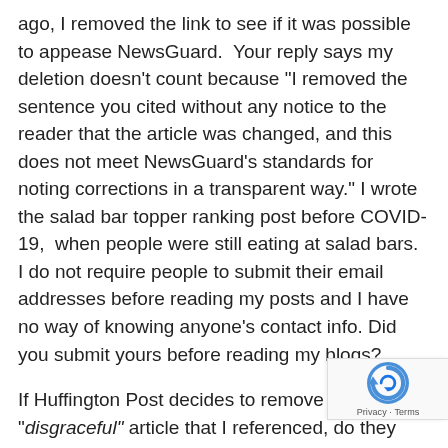ago, I removed the link to see if it was possible to appease NewsGuard.  Your reply says my deletion doesn't count because "I removed the sentence you cited without any notice to the reader that the article was changed, and this does not meet NewsGuard's standards for noting corrections in a transparent way." I wrote the salad bar topper ranking post before COVID-19,  when people were still eating at salad bars.  I do not require people to submit their email addresses before reading my posts and I have no way of knowing anyone's contact info. Did you submit yours before reading my blogs?
If Huffington Post decides to remove this "disgraceful" article that I referenced, do they have all their readers' contact information so they can abide by the NewsGuard approved process of sending a notice to everyone?
CNN.com, which NewsGuard considers a green flag